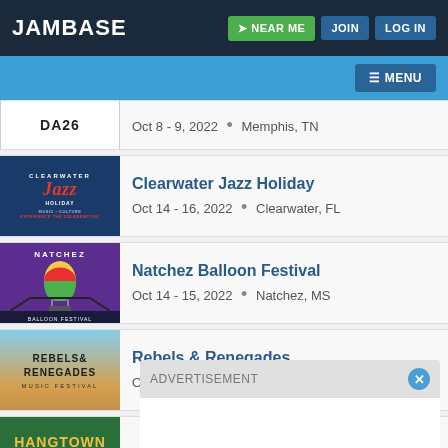JamBase | NEAR ME | JOIN | LOG IN
MENU
Oct 8 - 9, 2022 • Memphis, TN
Clearwater Jazz Holiday
Oct 14 - 16, 2022 • Clearwater, FL
Natchez Balloon Festival
Oct 14 - 15, 2022 • Natchez, MS
Rebels & Renegades
Oct 15 - 16, 2022 • Monterey, CA
Hangtown Music Festival
ADVERTISEMENT